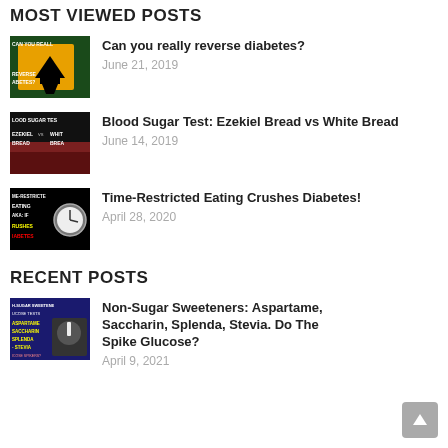MOST VIEWED POSTS
[Figure (photo): Thumbnail for 'Can you really reverse diabetes?' post - black background with yellow arrow and text]
Can you really reverse diabetes? — June 21, 2019
[Figure (photo): Thumbnail for 'Blood Sugar Test: Ezekiel Bread vs White Bread' post - dark background with bread image]
Blood Sugar Test: Ezekiel Bread vs White Bread — June 14, 2019
[Figure (photo): Thumbnail for 'Time-Restricted Eating Crushes Diabetes!' post - dark background with clock]
Time-Restricted Eating Crushes Diabetes! — April 28, 2020
RECENT POSTS
[Figure (photo): Thumbnail for 'Non-Sugar Sweeteners' post - purple/dark background]
Non-Sugar Sweeteners: Aspartame, Saccharin, Splenda, Stevia. Do The Spike Glucose? — April 9, 2021